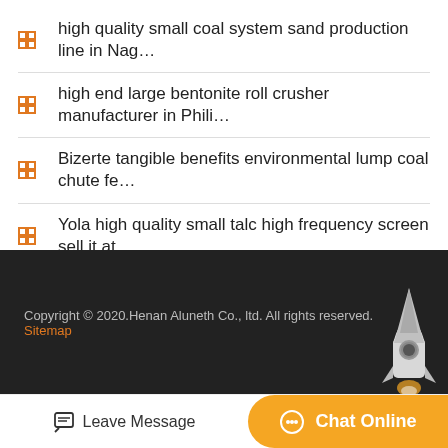high quality small coal system sand production line in Nag…
high end large bentonite roll crusher manufacturer in Phili…
Bizerte tangible benefits environmental lump coal chute fe…
Yola high quality small talc high frequency screen sell it at…
Laos efficient new river sand raymond mill price
low price portable calcite high frequency screen sell it at a …
Copyright © 2020.Henan Aluneth Co., ltd. All rights reserved. Sitemap